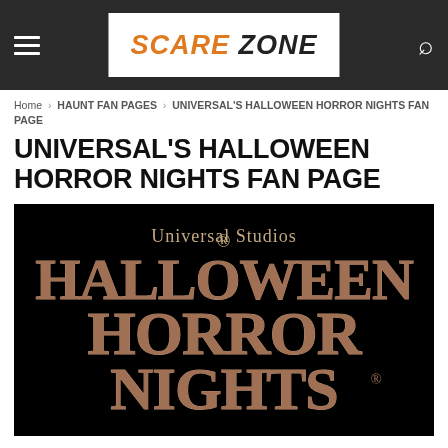Scare Zone (navigation bar with hamburger menu, logo, and search icon)
Home › HAUNT FAN PAGES › UNIVERSAL'S HALLOWEEN HORROR NIGHTS FAN PAGE
UNIVERSAL'S HALLOWEEN HORROR NIGHTS FAN PAGE
[Figure (logo): Universal Studios Halloween Horror Nights logo on black background. Text reads 'Universal Studios' in serif at top, then large stylized gothic text 'HALLOWEEN HORROR NIGHTS' with a cracked/distressed texture effect.]